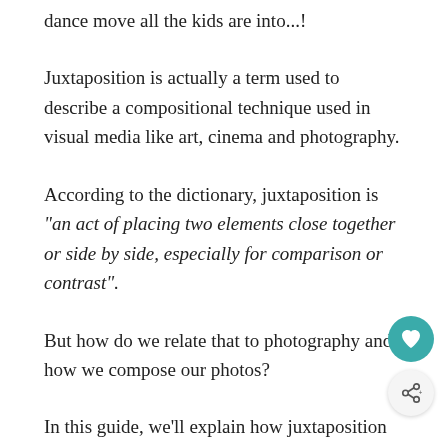dance move all the kids are into...!
Juxtaposition is actually a term used to describe a compositional technique used in visual media like art, cinema and photography.
According to the dictionary, juxtaposition is “an act of placing two elements close together or side by side, especially for comparison or contrast”.
But how do we relate that to photography and how we compose our photos?
In this guide, we’ll explain how juxtaposition is a